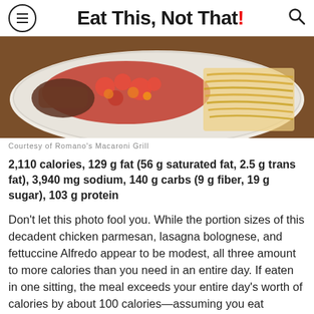Eat This, Not That!
[Figure (photo): Close-up photo of a plate with chicken parmesan, tomato sauce, lasagna bolognese, and fettuccine Alfredo on a wooden table.]
Courtesy of Romano's Macaroni Grill
2,110 calories, 129 g fat (56 g saturated fat, 2.5 g trans fat), 3,940 mg sodium, 140 g carbs (9 g fiber, 19 g sugar), 103 g protein
Don't let this photo fool you. While the portion sizes of this decadent chicken parmesan, lasagna bolognese, and fettuccine Alfredo appear to be modest, all three amount to more calories than you need in an entire day. If eaten in one sitting, the meal exceeds your entire day's worth of calories by about 100 calories—assuming you eat